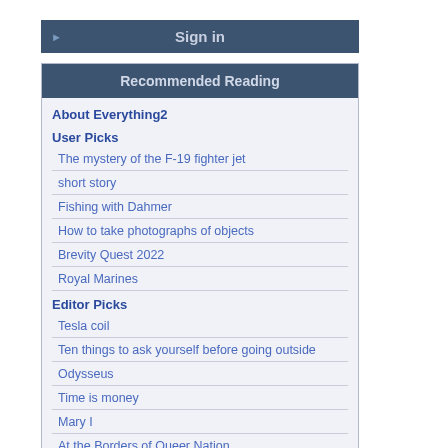Sign in
Recommended Reading
About Everything2
User Picks
The mystery of the F-19 fighter jet
short story
Fishing with Dahmer
How to take photographs of objects
Brevity Quest 2022
Royal Marines
Editor Picks
Tesla coil
Ten things to ask yourself before going outside
Odysseus
Time is money
Mary I
At the Borders of Queer Nation